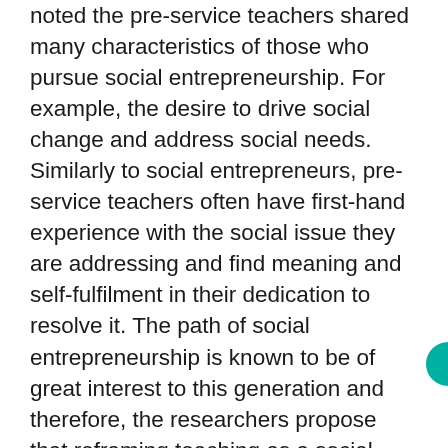noted the pre-service teachers shared many characteristics of those who pursue social entrepreneurship. For example, the desire to drive social change and address social needs. Similarly to social entrepreneurs, pre-service teachers often have first-hand experience with the social issue they are addressing and find meaning and self-fulfilment in their dedication to resolve it. The path of social entrepreneurship is known to be of great interest to this generation and therefore, the researchers propose that reframing teaching as a social entrepreneurial pursuit may have beneficial impact on the perceived social status and recruitment of teachers. These findings are unique and therefore, further research is required to more fully understand the similarities and differences between pre-service teacher and social entrepreneurial characteristics and motivations. Findings from this, and other similar research, could have implications for the recruitment